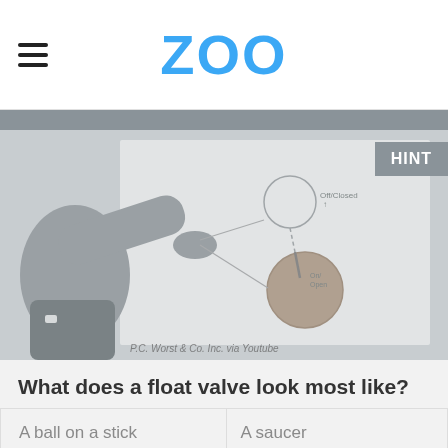ZOO
[Figure (photo): A grayscale photo/video frame showing a person's hands holding a model with a ball on a stick in front of a whiteboard with a float valve diagram drawn on it. A 'HINT' button overlay appears in the top right. Watermark reads 'P.C. Worst & Co. Inc. via Youtube']
What does a float valve look most like?
A ball on a stick
A saucer